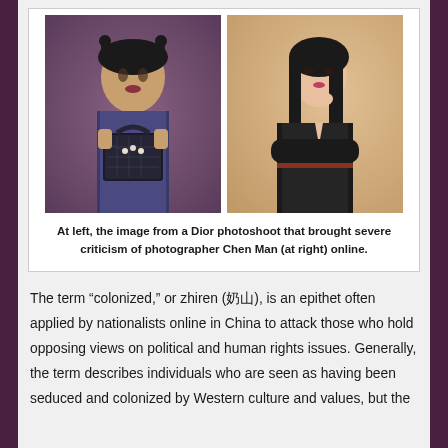[Figure (photo): Two photos side by side: at left, a photo from a Dior photoshoot showing a model in traditional Chinese-style makeup and costume holding a Lady Dior handbag; at right, a photo of photographer Chen Man, a young woman in a black outfit with crossed arms]
At left, the image from a Dior photoshoot that brought severe criticism of photographer Chen Man (at right) online.
The term “colonized,” or zhiren (奶山), is an epithet often applied by nationalists online in China to attack those who hold opposing views on political and human rights issues. Generally, the term describes individuals who are seen as having been seduced and colonized by Western culture and values, but the